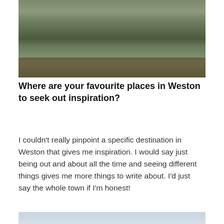[Figure (photo): Two people sitting on a wooden bench outdoors in what appears to be a cemetery or park, with green grass and gravestones visible in the background.]
Where are your favourite places in Weston to seek out inspiration?
I couldn't really pinpoint a specific destination in Weston that gives me inspiration. I would say just being out and about all the time and seeing different things gives me more things to write about. I'd just say the whole town if I'm honest!
[Figure (photo): A partial photo showing a pale blue-grey sky, cropped at the bottom of the page.]